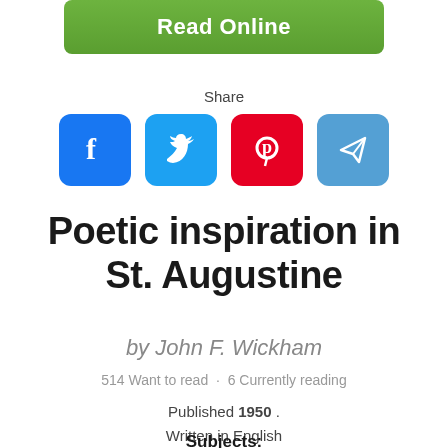[Figure (screenshot): Green 'Read Online' button at top of page]
Share
[Figure (infographic): Four social media share icons: Facebook (blue), Twitter (cyan), Pinterest (red), Telegram/send (light blue)]
Poetic inspiration in St. Augustine
by John F. Wickham
514 Want to read  ·  6 Currently reading
Published 1950 .
Written in English
Subjects: